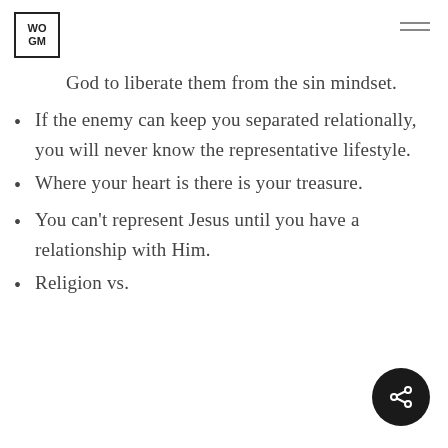WOGM
God to liberate them from the sin mindset.
If the enemy can keep you separated relationally, you will never know the representative lifestyle.
Where your heart is there is your treasure.
You can't represent Jesus until you have a relationship with Him.
Religion vs.